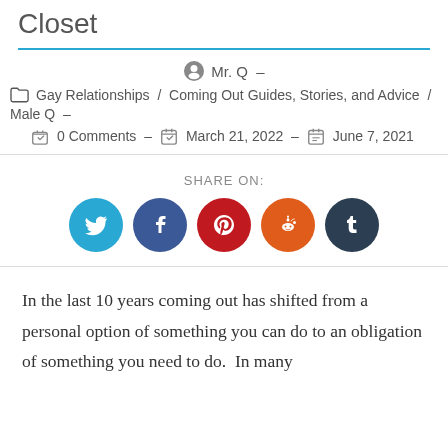Closet
Mr. Q –
Gay Relationships / Coming Out Guides, Stories, and Advice / Male Q –
0 Comments – March 21, 2022 – June 7, 2021
SHARE ON:
[Figure (infographic): Social share buttons: Twitter (blue), Facebook (dark blue), Pinterest (red), Reddit (orange), Tumblr (dark navy)]
In the last 10 years coming out has shifted from a personal option of something you can do to an obligation of something you need to do.  In many